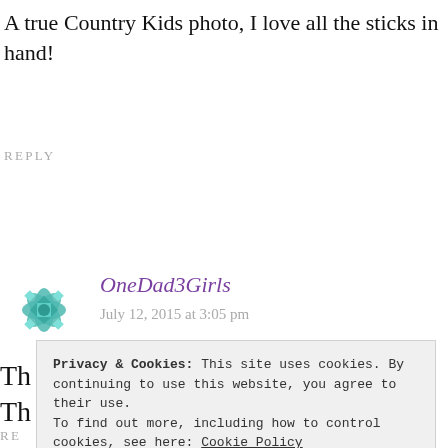A true Country Kids photo, I love all the sticks in hand!
REPLY
[Figure (logo): Teal geometric flower/snowflake avatar icon for OneDad3Girls commenter]
OneDad3Girls
July 12, 2015 at 3:05 pm
Th...
Th...
RE...
Privacy & Cookies: This site uses cookies. By continuing to use this website, you agree to their use.
To find out more, including how to control cookies, see here: Cookie Policy
[Close and accept]